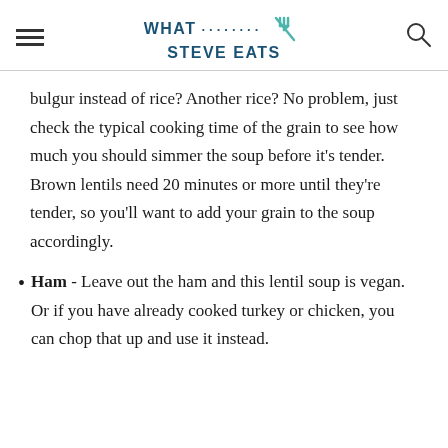WHAT STEVE EATS
bulgur instead of rice? Another rice? No problem, just check the typical cooking time of the grain to see how much you should simmer the soup before it's tender. Brown lentils need 20 minutes or more until they're tender, so you'll want to add your grain to the soup accordingly.
Ham - Leave out the ham and this lentil soup is vegan. Or if you have already cooked turkey or chicken, you can chop that up and use it instead.